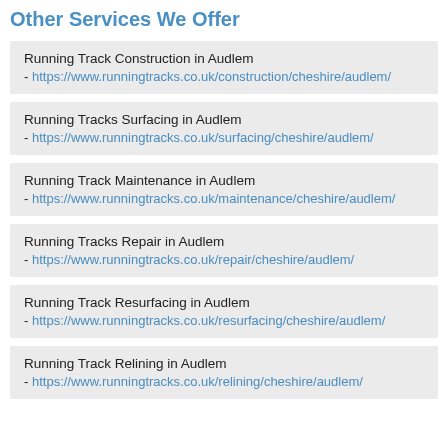Other Services We Offer
Running Track Construction in Audlem - https://www.runningtracks.co.uk/construction/cheshire/audlem/
Running Tracks Surfacing in Audlem - https://www.runningtracks.co.uk/surfacing/cheshire/audlem/
Running Track Maintenance in Audlem - https://www.runningtracks.co.uk/maintenance/cheshire/audlem/
Running Tracks Repair in Audlem - https://www.runningtracks.co.uk/repair/cheshire/audlem/
Running Track Resurfacing in Audlem - https://www.runningtracks.co.uk/resurfacing/cheshire/audlem/
Running Track Relining in Audlem - https://www.runningtracks.co.uk/relining/cheshire/audlem/